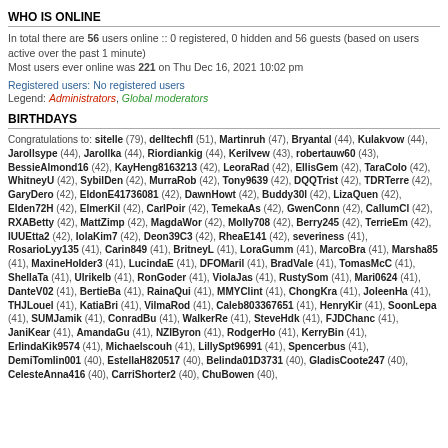WHO IS ONLINE
In total there are 56 users online :: 0 registered, 0 hidden and 56 guests (based on users active over the past 1 minute)
Most users ever online was 221 on Thu Dec 16, 2021 10:02 pm
Registered users: No registered users
Legend: Administrators, Global moderators
BIRTHDAYS
Congratulations to: sitelle (79), delltechfl (51), Martinruh (47), Bryantal (44), Kulakvow (44), Jarollsype (44), Jarollka (44), Riordiankig (44), Kerilvew (43), robertauw60 (43), BessieAlmond16 (42), KayHeng8163213 (42), LeoraRad (42), EllisGem (42), TaraColo (42), WhitneyU (42), SybilDen (42), MurraRob (42), Tony9639 (42), DQQTrist (42), TDRTerre (42), GaryDero (42), EldonE41736081 (42), DawnHowt (42), Buddy30l (42), LizaQuen (42), Elden72H (42), ElmerKil (42), CarlPoir (42), TemekaAs (42), GwenConn (42), CallumCl (42), RXABetty (42), MattZimp (42), MagdaWor (42), Molly708 (42), Berry245 (42), TerrieEm (42), IUUEtta2 (42), IolaKim7 (42), Deon39C3 (42), RheaE141 (42), severiness (41), RosarioLyy135 (41), Carin849 (41), BritneyL (41), LoraGumm (41), MarcoBra (41), Marsha85 (41), MaxineHolder3 (41), LucindaE (41), DFOMaril (41), BradVale (41), TomasMcC (41), ShellaTa (41), Ulrikelb (41), RonGoder (41), ViolaJas (41), RustySom (41), Mari0624 (41), DanteV02 (41), BertieBa (41), RainaQui (41), MMYClint (41), ChongKra (41), JoleenHa (41), THJLouel (41), KatiaBri (41), VilmaRod (41), Caleb803367651 (41), HenryKir (41), SoonLepa (41), SUMJamik (41), ConradBu (41), WalkerRe (41), SteveHdk (41), FJDChanc (41), JaniKear (41), AmandaGu (41), NZIByron (41), RodgerHo (41), KerryBin (41), ErlindaKik9574 (41), Michaelscouh (41), LillySpt96991 (41), Spencerbus (41), DemiTomlin001 (40), EstellaH820517 (40), Belinda01D3731 (40), GladisCoote247 (40), CelesteAnna416 (40), CarriShorter2 (40), ChuBowen (40),